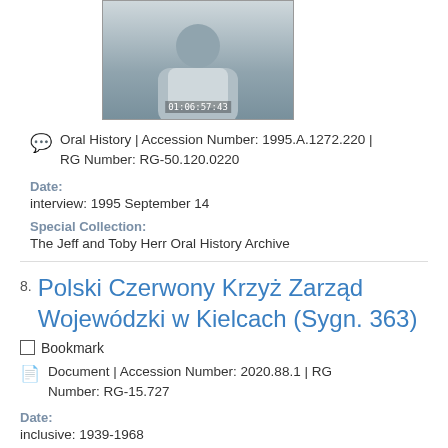[Figure (photo): Photo of a man in a light blue shirt, with a video timestamp overlay reading 01:06:57:43]
Oral History | Accession Number: 1995.A.1272.220 | RG Number: RG-50.120.0220
Date:
interview: 1995 September 14
Special Collection:
The Jeff and Toby Herr Oral History Archive
Polski Czerwony Krzyż Zarząd Wojewódzki w Kielcach (Sygn. 363)
Bookmark
Document | Accession Number: 2020.88.1 | RG Number: RG-15.727
Date:
inclusive: 1939-1968
Alternate Title: